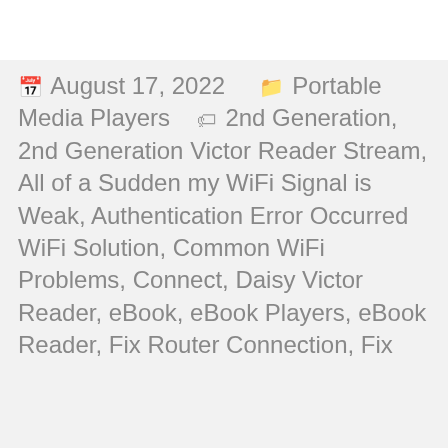August 17, 2022   Portable Media Players   2nd Generation, 2nd Generation Victor Reader Stream, All of a Sudden my WiFi Signal is Weak, Authentication Error Occurred WiFi Solution, Common WiFi Problems, Connect, Daisy Victor Reader, eBook, eBook Players, eBook Reader, Fix Router Connection, Fix...